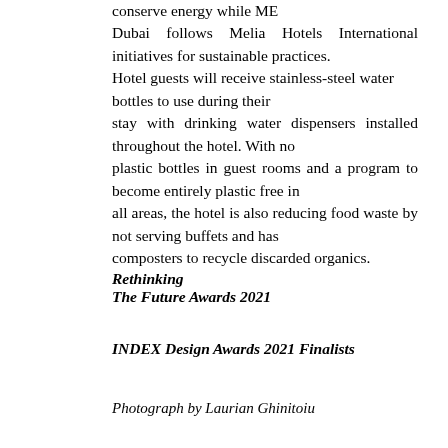conserve energy while ME Dubai follows Melia Hotels International initiatives for sustainable practices. Hotel guests will receive stainless-steel water bottles to use during their stay with drinking water dispensers installed throughout the hotel. With no plastic bottles in guest rooms and a program to become entirely plastic free in all areas, the hotel is also reducing food waste by not serving buffets and has composters to recycle discarded organics.
Rethinking
The Future Awards 2021
INDEX Design Awards 2021 Finalists
Photograph by Laurian Ghinitoiu